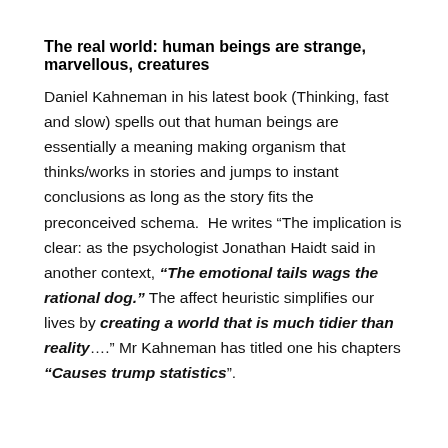The real world: human beings are strange, marvellous, creatures
Daniel Kahneman in his latest book (Thinking, fast and slow) spells out that human beings are essentially a meaning making organism that thinks/works in stories and jumps to instant conclusions as long as the story fits the preconceived schema.  He writes “The implication is clear: as the psychologist Jonathan Haidt said in another context, “The emotional tails wags the rational dog.” The affect heuristic simplifies our lives by creating a world that is much tidier than reality….” Mr Kahneman has titled one his chapters “Causes trump statistics”.